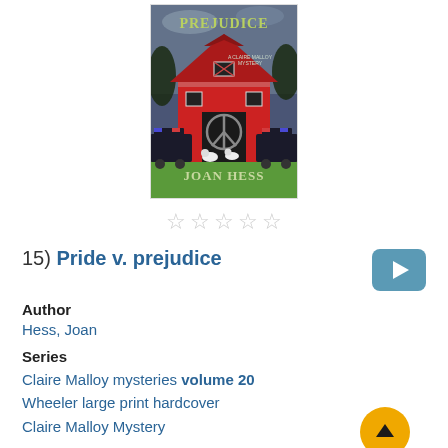[Figure (illustration): Book cover for 'Pride v. Prejudice' by Joan Hess — a Claire Malloy Mystery. Shows a red barn with a peace sign on the doors, police cars on either side, white goats in front, and the title at top and author name at bottom. The background shows a cloudy sky and trees.]
[Figure (other): Five empty/unfilled star rating icons]
15) Pride v. prejudice
Author
Hess, Joan
Series
Claire Malloy mysteries volume 20
Wheeler large print hardcover
Claire Malloy Mystery
Language
English